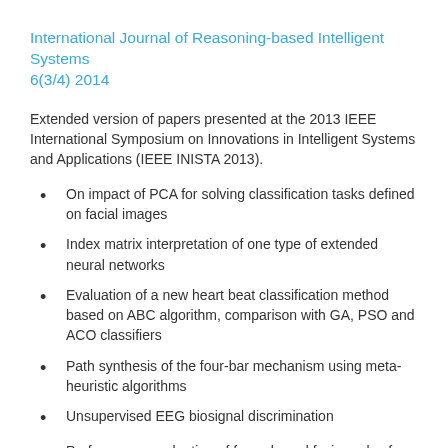International Journal of Reasoning-based Intelligent Systems 6(3/4) 2014
Extended version of papers presented at the 2013 IEEE International Symposium on Innovations in Intelligent Systems and Applications (IEEE INISTA 2013).
On impact of PCA for solving classification tasks defined on facial images
Index matrix interpretation of one type of extended neural networks
Evaluation of a new heart beat classification method based on ABC algorithm, comparison with GA, PSO and ACO classifiers
Path synthesis of the four-bar mechanism using meta-heuristic algorithms
Unsupervised EEG biosignal discrimination
Performance evaluation of fuzzy-based fusion rules for tracking applications